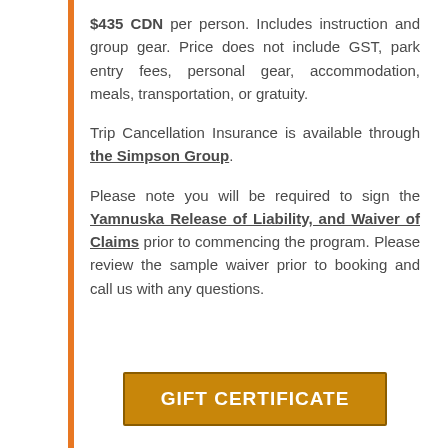$435 CDN per person. Includes instruction and group gear. Price does not include GST, park entry fees, personal gear, accommodation, meals, transportation, or gratuity.
Trip Cancellation Insurance is available through the Simpson Group.
Please note you will be required to sign the Yamnuska Release of Liability, and Waiver of Claims prior to commencing the program. Please review the sample waiver prior to booking and call us with any questions.
[Figure (other): Orange button labeled GIFT CERTIFICATE]